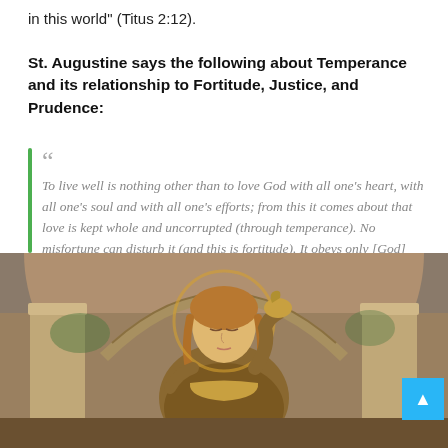in this world" (Titus 2:12).
St. Augustine says the following about Temperance and its relationship to Fortitude, Justice, and Prudence:
To live well is nothing other than to love God with all one's heart, with all one's soul and with all one's efforts; from this it comes about that love is kept whole and uncorrupted (through temperance). No misfortune can disturb it (and this is fortitude). It obeys only [God] (and this is justice), and is careful in discerning things, so as not to be surprised by deceit or trickery (and this is prudence).[9]
[Figure (illustration): A Renaissance-style painting depicting an allegorical female figure, likely representing Temperance, set within an arched architectural background with classical columns.]